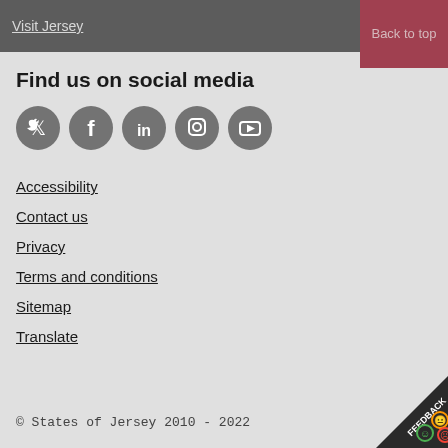Visit Jersey   Back to top
Find us on social media
[Figure (other): Five circular grey social media icons: Twitter, Facebook, LinkedIn, Instagram, YouTube]
Accessibility
Contact us
Privacy
Terms and conditions
Sitemap
Translate
© States of Jersey 2010 - 2022
[Figure (other): Feedback banner in bottom right corner with emoji faces]